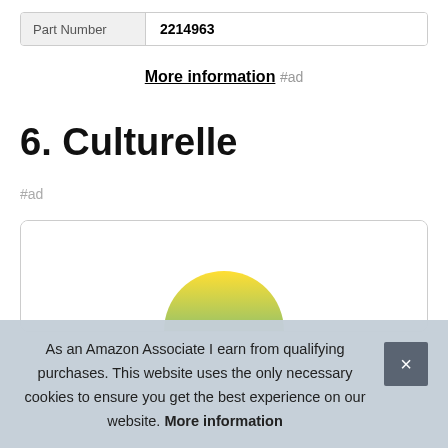| Part Number | 2214963 |
| --- | --- |
More information #ad
6. Culturelle
#ad
[Figure (other): Product card with partial image showing yellow and green colors at the bottom]
As an Amazon Associate I earn from qualifying purchases. This website uses the only necessary cookies to ensure you get the best experience on our website. More information